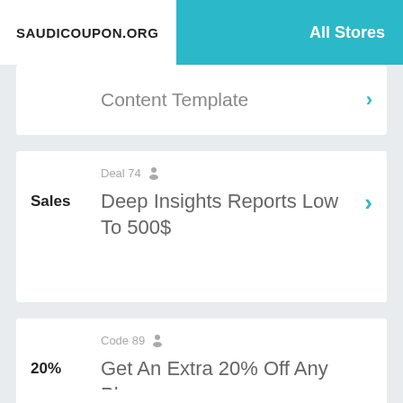SAUDICOUPON.ORG  All Stores
Content Template
Deal 74  Deep Insights Reports Low To 500$
Code 89  Get An Extra 20% Off Any Plans